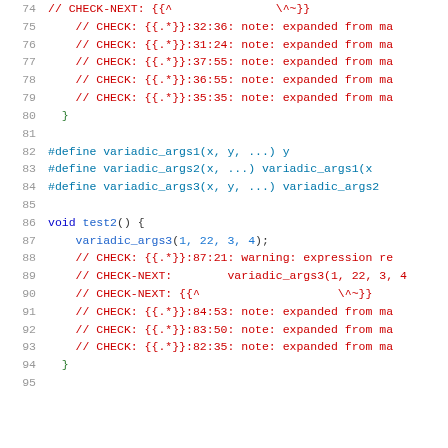[Figure (screenshot): Source code listing showing C/C++ code with line numbers 74-95, including CHECK comments (in red), preprocessor defines, and a void test2() function.]